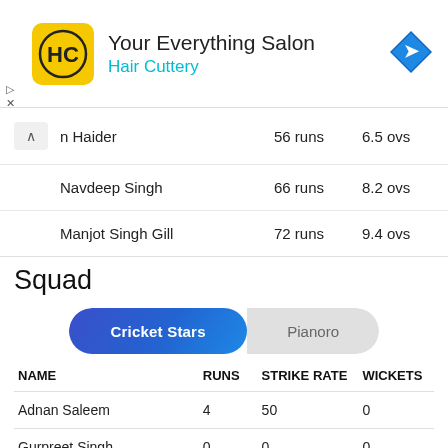[Figure (advertisement): Hair Cuttery 'Your Everything Salon' advertisement banner with logo and navigation icon]
| Name | Runs | Ovs |
| --- | --- | --- |
| n Haider | 56 runs | 6.5 ovs |
| Navdeep Singh | 66 runs | 8.2 ovs |
| Manjot Singh Gill | 72 runs | 9.4 ovs |
Squad
[Figure (other): Tab switcher with 'Cricket Stars' (active, blue) and 'Pianoro' (inactive, grey) tabs]
| NAME | RUNS | STRIKE RATE | WICKETS |
| --- | --- | --- | --- |
| Adnan Saleem | 4 | 50 | 0 |
| Gurpreet Singh | 0 | 0 | 0 |
| Harpreet Singh | 0 | 0 | 2 |